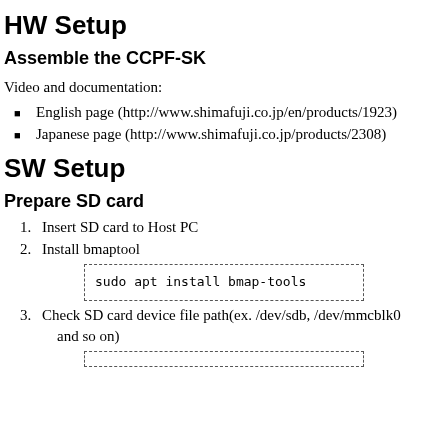HW Setup
Assemble the CCPF-SK
Video and documentation:
English page (http://www.shimafuji.co.jp/en/products/1923)
Japanese page (http://www.shimafuji.co.jp/products/2308)
SW Setup
Prepare SD card
Insert SD card to Host PC
Install bmaptool
Check SD card device file path(ex. /dev/sdb, /dev/mmcblk0 and so on)